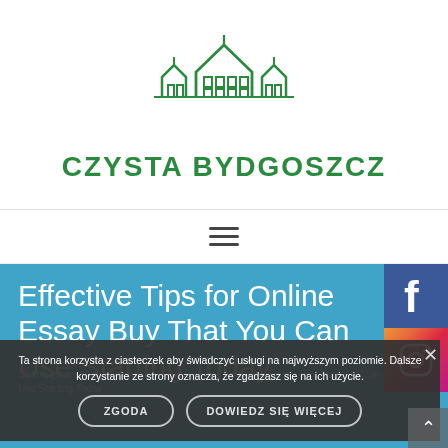[Figure (logo): Czysta Bydgoszcz logo: green line drawing of houses/buildings above the text CZYSTA BYDGOSZCZ in bold green capitals]
CZYSTA BYDGOSZCZ
[Figure (illustration): Hamburger menu icon (three horizontal lines)]
Effective Tips for Online Essay Buy That You Can Use Starting Today
Strona główna / uncategorized / Effective Tips for Online Essay Buy That You Can Use Starting Today
Ta strona korzysta z ciasteczek aby świadczyć usługi na najwyższym poziomie. Dalsze korzystanie ze strony oznacza, że zgadzasz się na ich użycie.
ZGODA
DOWIEDZ SIĘ WIĘCEJ